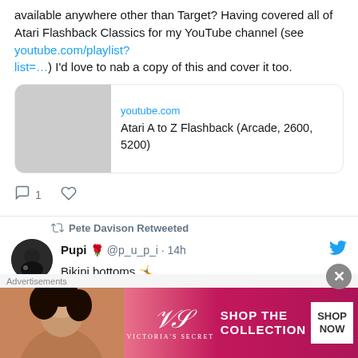available anywhere other than Target? Having covered all of Atari Flashback Classics for my YouTube channel (see youtube.com/playlist?list=…) I'd love to nab a copy of this and cover it too.
[Figure (screenshot): Link preview card for youtube.com showing 'Atari A to Z Flashback (Arcade, 2600, 5200)']
Reply icon 1  Like icon
Pete Davison Retweeted
Pupi 🌹 @p_u_p_i · 14h
Bikini bottoms 🤸
#ShylilyArt #noombart #baort
Advertisements
[Figure (photo): Victoria's Secret advertisement banner: SHOP THE COLLECTION / SHOP NOW]